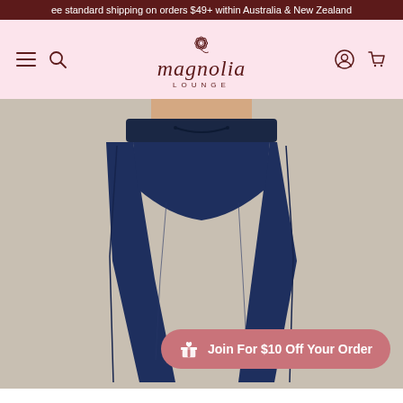ee standard shipping on orders $49+ within Australia & New Zealand
[Figure (screenshot): Magnolia Lounge brand logo with stylized flower above text 'magnolia LOUNGE' on pink background, with hamburger menu, search, account, and cart icons]
[Figure (photo): Product photo of navy blue drawstring lounge pants / pajama bottoms worn by a model, shown from waist to ankles on a beige background]
Join For $10 Off Your Order